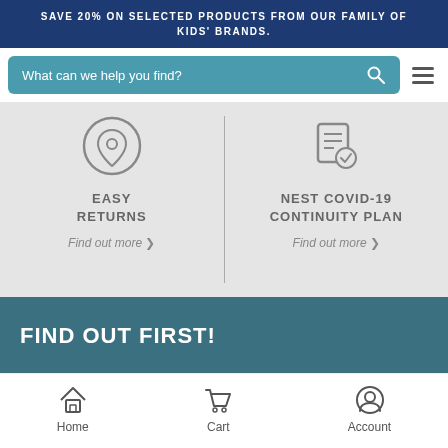SAVE 20% ON SELECTED PRODUCTS FROM OUR FAMILY OF KIDS' BRANDS.
What can we help you find?
[Figure (infographic): Easy Returns icon — a shield with a location pin or return arrow symbol]
EASY RETURNS
Find out more >
[Figure (infographic): Nest Covid-19 Continuity Plan icon — a checklist/document with a checkmark symbol]
NEST COVID-19 CONTINUITY PLAN
Find out more >
FIND OUT FIRST!
Home   Cart   Account